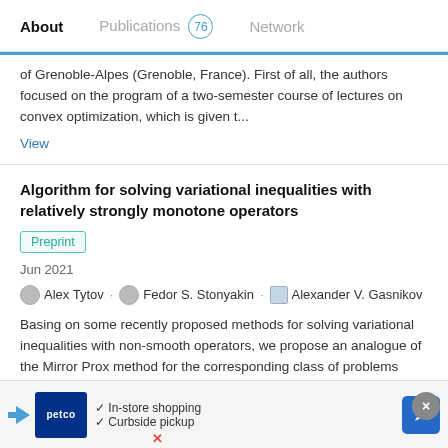About   Publications 76   Network
of Grenoble-Alpes (Grenoble, France). First of all, the authors focused on the program of a two-semester course of lectures on convex optimization, which is given t...
View
Algorithm for solving variational inequalities with relatively strongly monotone operators
Preprint
Jun 2021
Alex Tytov · Fedor S. Stonyakin · Alexander V. Gasnikov
Basing on some recently proposed methods for solving variational inequalities with non-smooth operators, we propose an analogue of the Mirror Prox method for the corresponding class of problems under the assumption of relative smoothness
[Figure (other): Advertisement banner for Petco featuring logo, checkmarks for In-store shopping and Curbside pickup, a navigation arrow icon, a close button, and an X button.]